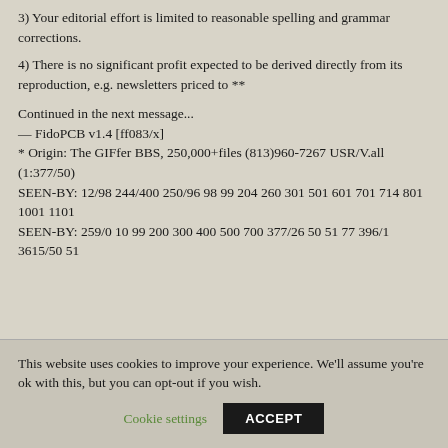3) Your editorial effort is limited to reasonable spelling and grammar corrections.
4) There is no significant profit expected to be derived directly from its reproduction, e.g. newsletters priced to **
Continued in the next message...
— FidoPCB v1.4 [ff083/x]
* Origin: The GIFfer BBS, 250,000+files (813)960-7267 USR/V.all (1:377/50)
SEEN-BY: 12/98 244/400 250/96 98 99 204 260 301 501 601 701 714 801 1001 1101
SEEN-BY: 259/0 10 99 200 300 400 500 700 377/26 50 51 77 396/1 3615/50 51
This website uses cookies to improve your experience. We'll assume you're ok with this, but you can opt-out if you wish.
Cookie settings  ACCEPT